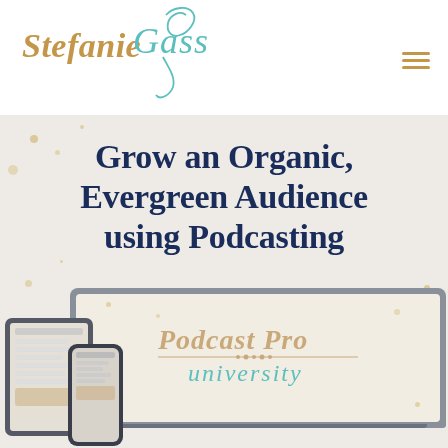[Figure (logo): Stefanie Gass logo with stylized teal script 'Gass' and gold 'Stefanie' text]
[Figure (screenshot): Hero section with dark navy bold title 'Grow an Organic, Evergreen Audience using Podcasting' on light beige background with gold spatter decorations, and device mockups (laptop, tablet, phone) showing Podcast Pro University branding at the bottom]